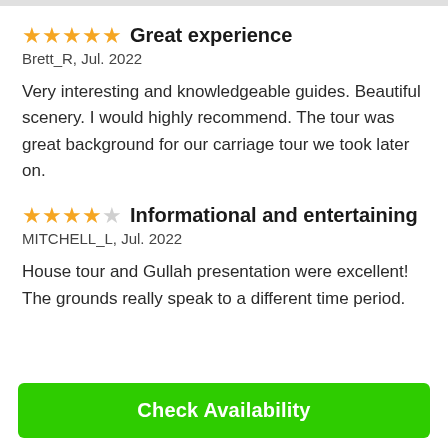★★★★★ Great experience
Brett_R, Jul. 2022

Very interesting and knowledgeable guides. Beautiful scenery. I would highly recommend. The tour was great background for our carriage tour we took later on.
★★★★☆ Informational and entertaining
MITCHELL_L, Jul. 2022

House tour and Gullah presentation were excellent! The grounds really speak to a different time period.
Check Availability